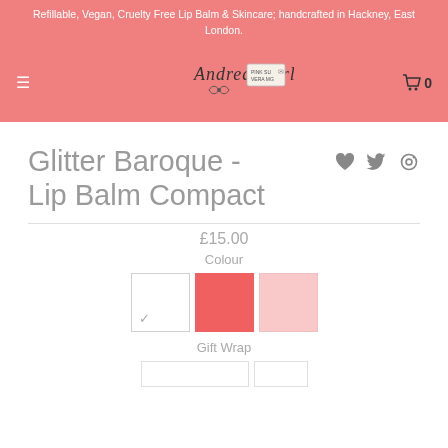Refillable, Vegan, Cruelty Free Lip Balm & Skincare; handcrafted in Hackney, East London.
[Figure (logo): Andrea Garland brand logo with signature script and small product label graphic]
Glitter Baroque - Lip Balm Compact
£15.00
Colour
[Figure (other): Three colour swatches: white/clear (selected with checkmark), coral red, and light pink]
Gift Wrap